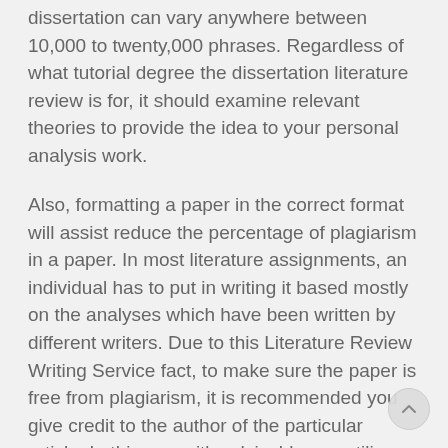dissertation can vary anywhere between 10,000 to twenty,000 phrases. Regardless of what tutorial degree the dissertation literature review is for, it should examine relevant theories to provide the idea to your personal analysis work.
Also, formatting a paper in the correct format will assist reduce the percentage of plagiarism in a paper. In most literature assignments, an individual has to put in writing it based mostly on the analyses which have been written by different writers. Due to this Literature Review Writing Service fact, to make sure the paper is free from plagiarism, it is recommended you give credit to the author of the particular article. In this case, it's advisable you utilize the correct referencing style to make your paper skilled.
Now we have fastidiously designed the order kind to assist our clients place their order for literature review writing service. Navigate to our order form and fill within the field